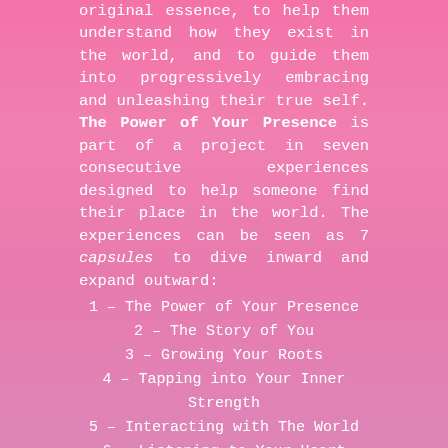original essence, to help them understand how they exist in the world, and to guide them into progressively embracing and unleashing their true self. The Power of Your Presence is part of a project in seven consecutive experiences designed to help someone find their place in the world. The experiences can be seen as 7 capsules to dive inward and expand outward:
1 – The Power of Your Presence
2 – The Story of You
3 – Growing Your Roots
4 – Tapping into Your Inner Strength
5 – Interacting with The World
6 – Listening to Your Heart
7 – Daring to Be You
The project is in its early stages of